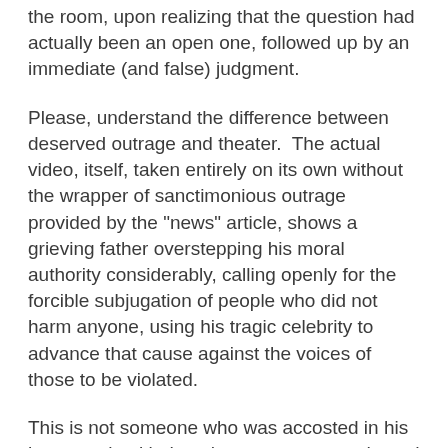the room, upon realizing that the question had actually been an open one, followed up by an immediate (and false) judgment.
Please, understand the difference between deserved outrage and theater.  The actual video, itself, taken entirely on its own without the wrapper of sanctimonious outrage provided by the "news" article, shows a grieving father overstepping his moral authority considerably, calling openly for the forcible subjugation of people who did not harm anyone, using his tragic celebrity to advance that cause against the voices of those to be violated.
This is not someone who was accosted in his home, or heckled on the street, or, say, droned at his son's funeral.  He has let himself (I will give him the benefit of the doubt here;  the man did lose a son) be used by others who have already decided what the "solution" should be, and agreed to appear in a show trial to justify it.